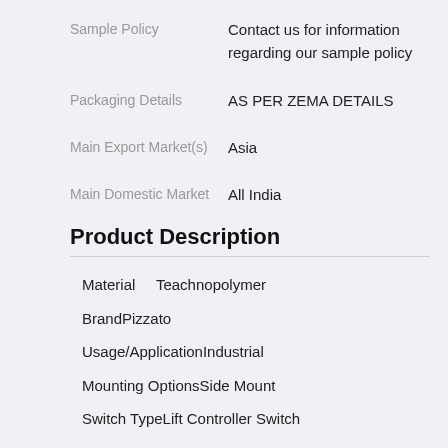| Sample Policy | Contact us for information regarding our sample policy |
| Packaging Details | AS PER ZEMA DETAILS |
| Main Export Market(s) | Asia |
| Main Domestic Market | All India |
Product Description
Material    Teachnopolymer
BrandPizzato
Usage/ApplicationIndustrial
Mounting OptionsSide Mount
Switch TypeLift Controller Switch